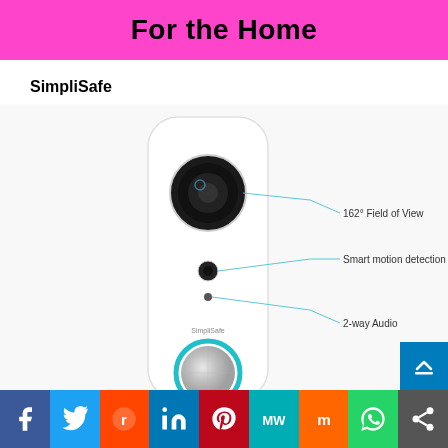For the Home
SimpliSafe
[Figure (photo): SimpliSafe video doorbell product photo with annotation lines pointing to: 162° Field of View (camera lens), Smart motion detection (sensor), 2-way Audio (microphone). Device is white with a teal ring button.]
Social share bar: Facebook, Twitter, Reddit, LinkedIn, Pinterest, MixedWire, Mix, WhatsApp, Share